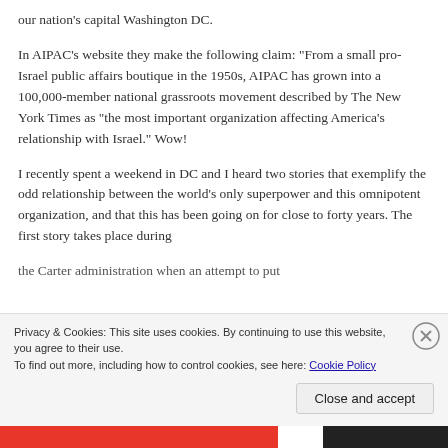our nation's capital Washington DC.
In AIPAC’s website they make the following claim: “From a small pro-Israel public affairs boutique in the 1950s, AIPAC has grown into a 100,000-member national grassroots movement described by The New York Times as “the most important organization affecting America’s relationship with Israel.” Wow!
I recently spent a weekend in DC and I heard two stories that exemplify the odd relationship between the world’s only superpower and this omnipotent organization, and that this has been going on for close to forty years. The first story takes place during the Carter administration when an attempt to put
Privacy & Cookies: This site uses cookies. By continuing to use this website, you agree to their use.
To find out more, including how to control cookies, see here: Cookie Policy
Close and accept